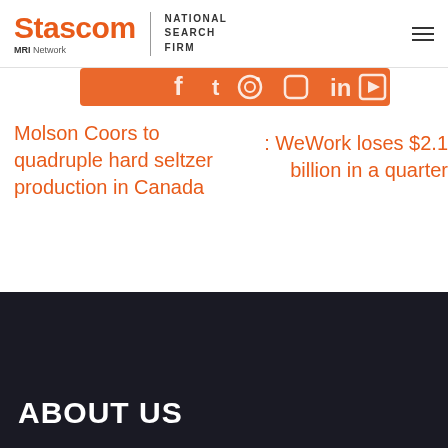Stascom MRI Network | NATIONAL SEARCH FIRM
[Figure (other): Partially visible orange social media icons strip (Facebook, Twitter, Instagram, Pinterest, LinkedIn, YouTube)]
Molson Coors to quadruple hard seltzer production in Canada
: WeWork loses $2.1 billion in a quarter
ABOUT US